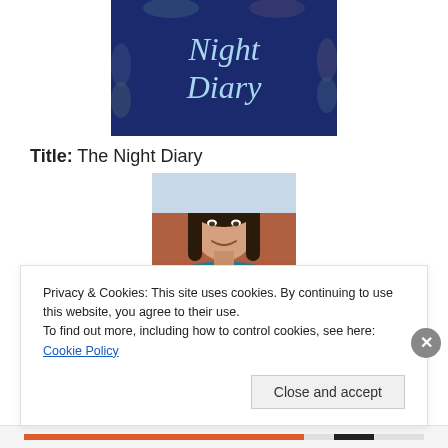[Figure (illustration): Book cover of 'The Night Diary' with dark navy blue background, stylized text in light blue cursive reading 'Night Diary', and illustrated hands around the border]
Title: The Night Diary
[Figure (photo): Author headshot: a woman with long dark hair, smiling, wearing a teal/blue top, with an orange/terracotta background]
Privacy & Cookies: This site uses cookies. By continuing to use this website, you agree to their use.
To find out more, including how to control cookies, see here: Cookie Policy
Close and accept